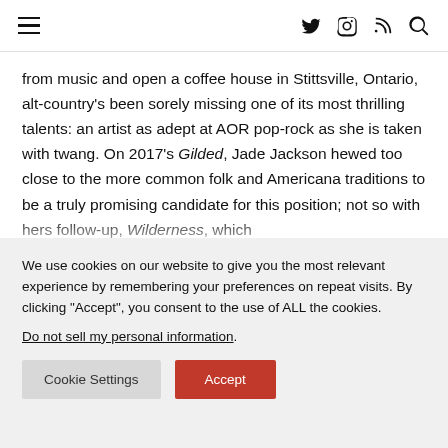[ hamburger menu ] [ twitter ] [ instagram ] [ rss ] [ search ]
from music and open a coffee house in Stittsville, Ontario, alt-country’s been sorely missing one of its most thrilling talents: an artist as adept at AOR pop-rock as she is taken with twang. On 2017’s Gilded, Jade Jackson hewed too close to the more common folk and Americana traditions to be a truly promising candidate for this position; not so with hers follow-up, Wilderness, which
We use cookies on our website to give you the most relevant experience by remembering your preferences on repeat visits. By clicking “Accept”, you consent to the use of ALL the cookies.
Do not sell my personal information.
Cookie Settings | Accept